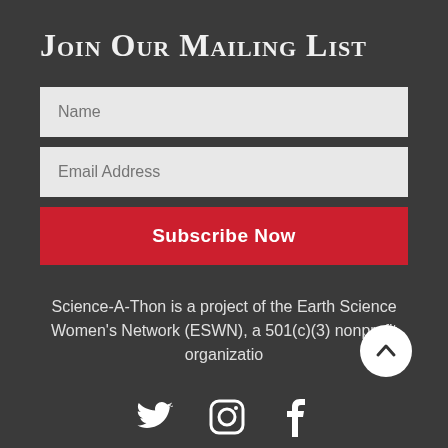Join Our Mailing List
[Figure (screenshot): Mailing list signup form with Name field, Email Address field, and Subscribe Now button on dark background]
Science-A-Thon is a project of the Earth Science Women's Network (ESWN), a 501(c)(3) nonprofit organization
[Figure (illustration): Social media icons: Twitter bird, Instagram camera, Facebook f]